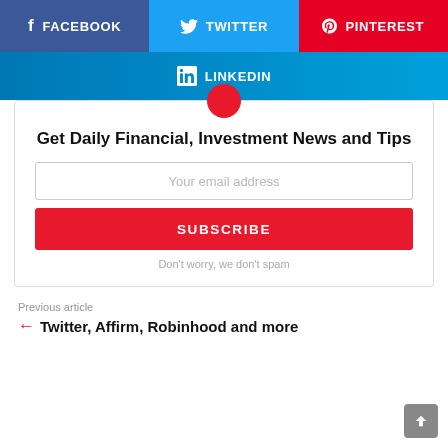[Figure (infographic): Social share buttons row: Facebook (blue), Twitter (cyan), Pinterest (red)]
[Figure (infographic): LinkedIn share button bar (blue gradient)]
[Figure (infographic): Red circle icon (newsletter logo top of card)]
Get Daily Financial, Investment News and Tips
Your email address
SUBSCRIBE
Don't worry, we don't spam
Previous article
Twitter, Affirm, Robinhood and more